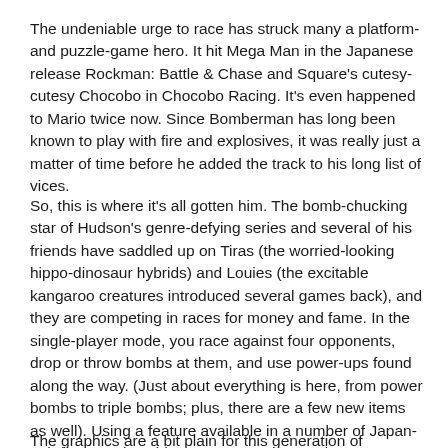The undeniable urge to race has struck many a platform- and puzzle-game hero. It hit Mega Man in the Japanese release Rockman: Battle & Chase and Square's cutesy-cutesy Chocobo in Chocobo Racing. It's even happened to Mario twice now. Since Bomberman has long been known to play with fire and explosives, it was really just a matter of time before he added the track to his long list of vices.
So, this is where it's all gotten him. The bomb-chucking star of Hudson's genre-defying series and several of his friends have saddled up on Tiras (the worried-looking hippo-dinosaur hybrids) and Louies (the excitable kangaroo creatures introduced several games back), and they are competing in races for money and fame. In the single-player mode, you race against four opponents, drop or throw bombs at them, and use power-ups found along the way. (Just about everything is here, from power bombs to triple bombs; plus, there are a few new items as well). Using a feature available in a number of Japan-only horseracing video games, you can make your mount sprint ahead for short distances until it tires. If you come in first, second, or third, you'll get cash. Make enough, and you can buy extra power-ups, better Tiras and Louies, and gain entrance into the next race. In the two-player split-screen mode, you can make a bet and race against a friend.
The graphics are a bit plain for this generation of PlayStation